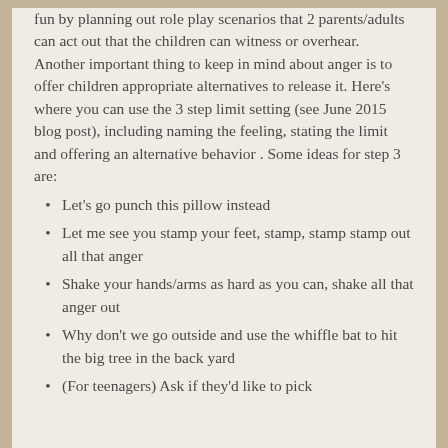fun by planning out role play scenarios that 2 parents/adults can act out that the children can witness or overhear. Another important thing to keep in mind about anger is to offer children appropriate alternatives to release it. Here's where you can use the 3 step limit setting (see June 2015 blog post), including naming the feeling, stating the limit and offering an alternative behavior . Some ideas for step 3 are:
Let's go punch this pillow instead
Let me see you stamp your feet, stamp, stamp stamp out all that anger
Shake your hands/arms as hard as you can, shake all that anger out
Why don't we go outside and use the whiffle bat to hit the big tree in the back yard
(For teenagers) Ask if they'd like to pick